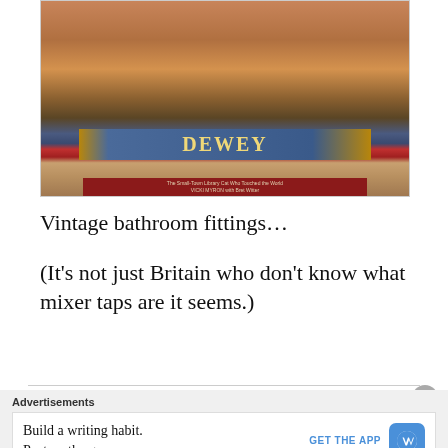[Figure (photo): Photo of a book on a bookshelf. The book is 'Dewey: The Small-Town Library Cat Who Touched the World' by Vicki Myron with Bret Witter. The cover shows an orange cat and the spine/cover band reads 'DEWEY' in gold letters on a blue band, with a red subtitle band below.]
Vintage bathroom fittings…
(It's not just Britain who don't know what mixer taps are it seems.)
Advertisements
Build a writing habit.
Post on the go.
GET THE APP